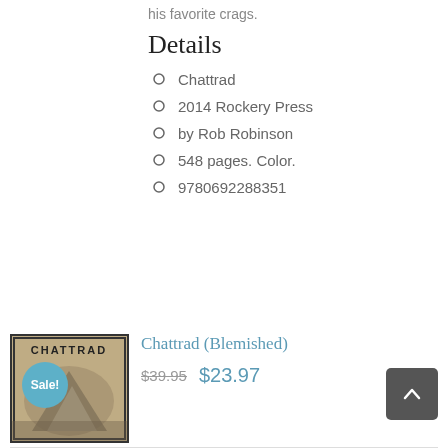his favorite crags.
Details
Chattrad
2014 Rockery Press
by Rob Robinson
548 pages. Color.
9780692288351
[Figure (photo): Book cover of Chattrad with Sale! badge overlay]
Chattrad (Blemished)
$39.95  $23.97